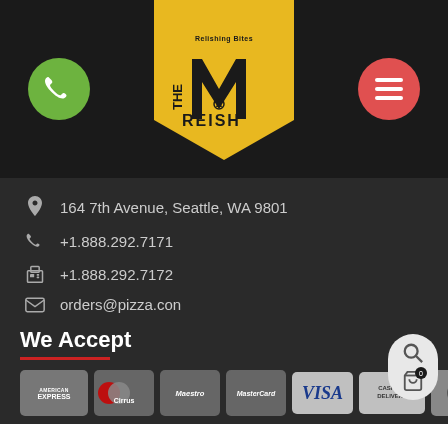[Figure (logo): The Moreish restaurant logo on a yellow pentagon/shield badge shape with text 'Relishing Bites' at top, large stylized 'M' letterform, and 'MOREISH' below with a pizza icon]
164 7th Avenue, Seattle, WA 9801
+1.888.292.7171
+1.888.292.7172
orders@pizza.con
We Accept
[Figure (other): Payment method icons: American Express, Cirrus, Maestro, MasterCard, VISA, Cash on Delivery, and one more partially visible]